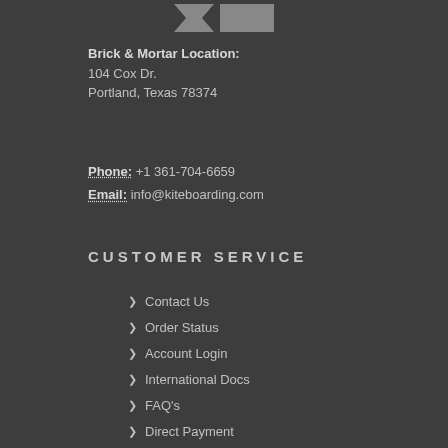[Figure (logo): Stylized logo with angular shapes in gray]
Brick & Mortar Location:
104 Cox Dr.
Portland, Texas 78374
Phone: +1 361-704-6659
Email: info@kiteboarding.com
CUSTOMER SERVICE
Contact Us
Order Status
Account Login
International Docs
FAQ's
Direct Payment